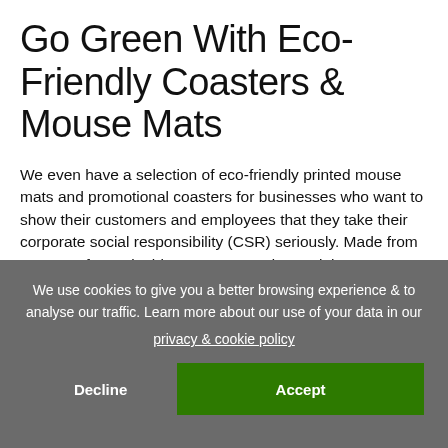Go Green With Eco-Friendly Coasters & Mouse Mats
We even have a selection of eco-friendly printed mouse mats and promotional coasters for businesses who want to show their customers and employees that they take their corporate social responsibility (CSR) seriously. Made from a range of sustainable resources and materials, we've got an option that will add a green touch to any desk.
If you're wanting a custom coaster that promotes your brand in a stylish way but also looks amazing on tables and desks, our range of sustainably sourced wooden coasters tick every
We use cookies to give you a better browsing experience & to analyse our traffic. Learn more about our use of your data in our privacy & cookie policy